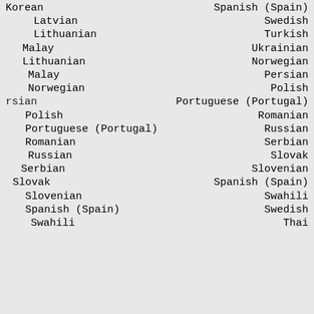Korean | Spanish (Spain)
Latvian | Swedish
Lithuanian | Turkish
Malay | Ukrainian
Lithuanian | Norwegian
Malay | Persian
Norwegian | Polish
rsian | Portuguese (Portugal)
Polish | Romanian
Portuguese (Portugal) | Russian
Romanian | Serbian
Russian | Slovak
Serbian | Slovenian
Slovak | Spanish (Spain)
Slovenian | Swahili
Spanish (Spain) | Swedish
Swahili | Thai